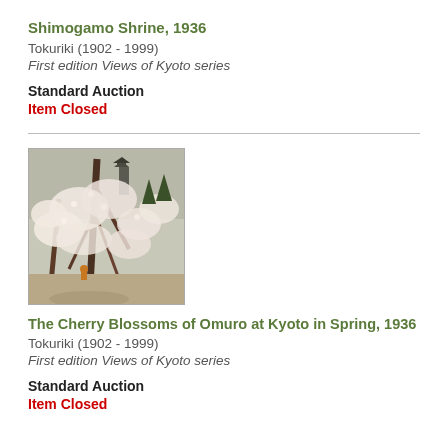Shimogamo Shrine, 1936
Tokuriki (1902 - 1999)
First edition Views of Kyoto series
Standard Auction
Item Closed
[Figure (photo): Japanese woodblock print showing cherry blossom trees with a pagoda visible in the background, depicting Omuro at Kyoto in Spring]
The Cherry Blossoms of Omuro at Kyoto in Spring, 1936
Tokuriki (1902 - 1999)
First edition Views of Kyoto series
Standard Auction
Item Closed